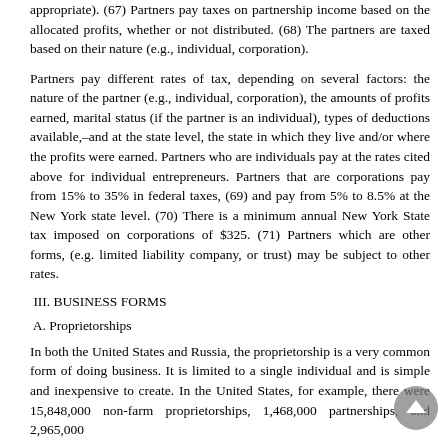appropriate). (67) Partners pay taxes on partnership income based on the allocated profits, whether or not distributed. (68) The partners are taxed based on their nature (e.g., individual, corporation).
Partners pay different rates of tax, depending on several factors: the nature of the partner (e.g., individual, corporation), the amounts of profits earned, marital status (if the partner is an individual), types of deductions available,–and at the state level, the state in which they live and/or where the profits were earned. Partners who are individuals pay at the rates cited above for individual entrepreneurs. Partners that are corporations pay from 15% to 35% in federal taxes, (69) and pay from 5% to 8.5% at the New York state level. (70) There is a minimum annual New York State tax imposed on corporations of $325. (71) Partners which are other forms, (e.g. limited liability company, or trust) may be subject to other rates.
III. BUSINESS FORMS
A. Proprietorships
In both the United States and Russia, the proprietorship is a very common form of doing business. It is limited to a single individual and is simple and inexpensive to create. In the United States, for example, there were 15,848,000 non-farm proprietorships, 1,468,000 partnerships, and 2,965,000